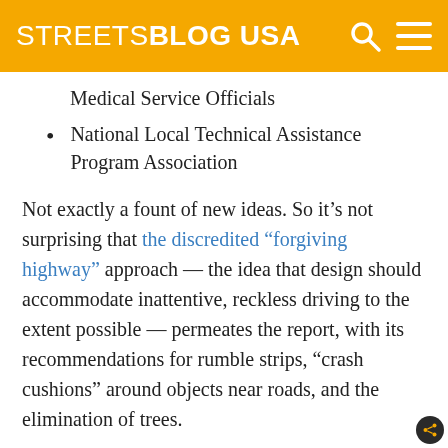STREETSBLOG USA
Medical Service Officials
National Local Technical Assistance Program Association
Not exactly a fount of new ideas. So it’s not surprising that the discredited “forgiving highway” approach — the idea that design should accommodate inattentive, reckless driving to the extent possible — permeates the report, with its recommendations for rumble strips, “crash cushions” around objects near roads, and the elimination of trees.
That’s not how America will get to zero deaths — it’s how we’ll keep falling behind.